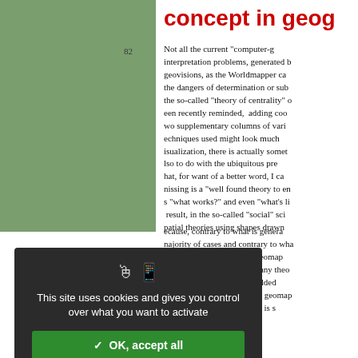concept in geog
Not all the current "computer-generated" interpretation problems, generated by geovisions, as the Worldmapper can show, the dangers of determination or subversion, the so-called "theory of centrality" of een recently reminded, adding coo wo supplementary columns of vari echniques used might look much visualization, there is actually someth lso to do with the ubiquitous pres hat, for want of a better word, I ca nissing is a "well found theory to en s "what works?" and even "what's li result, in the so-called "social" scie patial theories using shapes drawn t
because, contrary to what is genera najority of cases and contrary to wha recedes the production of geomap naps". With the absence of any theo isualization", there is the added ifferentiation by object) and geomap y object), so that the system is s
This site uses cookies and gives you control over what you want to activate
✓ OK, accept all
✗ Deny all cookies
Personalize
Privacy policy